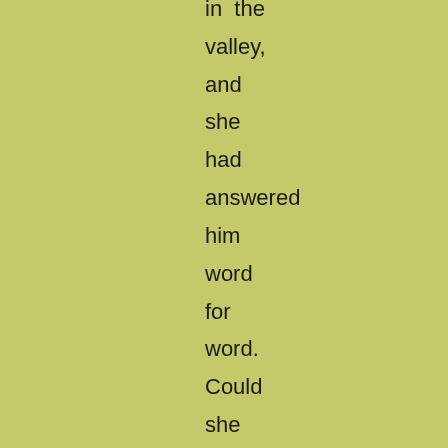in the valley, and she had answered him word for word. Could she mock the eye, as she mocked the voice?